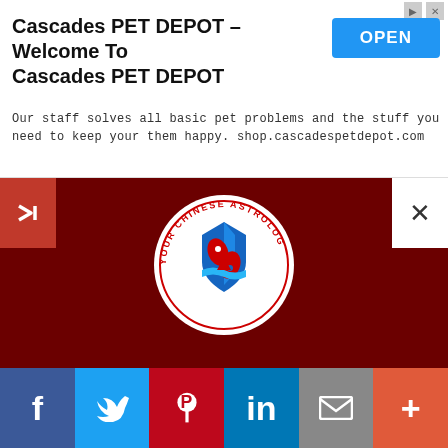[Figure (screenshot): Ad banner for Cascades PET DEPOT with title, description, and OPEN button]
Cascades PET DEPOT - Welcome To Cascades PET DEPOT
Our staff solves all basic pet problems and the stuff you need to keep your them happy. shop.cascadespetdepot.com
[Figure (logo): Your Chinese Astrology circular logo with red and blue fish/zodiac emblem]
About Us
Questions and Answers
Be Our Fan on Facebook
Follow Us on Twitter
Contact Us
Privacy & Security
[Figure (infographic): Social media share bar with Facebook, Twitter, Pinterest, LinkedIn, Mail, and More buttons]